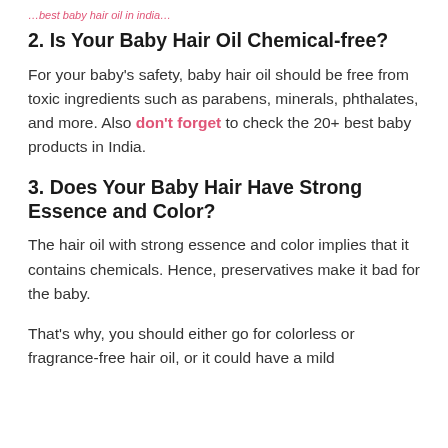…best baby hair oil in india…
2. Is Your Baby Hair Oil Chemical-free?
For your baby’s safety, baby hair oil should be free from toxic ingredients such as parabens, minerals, phthalates, and more. Also don’t forget to check the 20+ best baby products in India.
3. Does Your Baby Hair Have Strong Essence and Color?
The hair oil with strong essence and color implies that it contains chemicals. Hence, preservatives make it bad for the baby.
That’s why, you should either go for colorless or fragrance-free hair oil, or it could have a mild